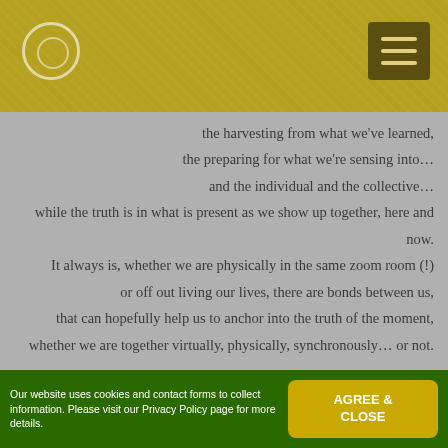[Figure (logo): Website header bar with golden/olive textured background, circular logo icon on left, hamburger menu button on right]
the harvesting from what we've learned,
the preparing for what we're sensing into…
and the individual and the collective…
while the truth is in what is present as we show up together, here and now.
It always is, whether we are physically in the same zoom room (!)
or off out living our lives, there are bonds between us,
that can hopefully help us to anchor into the truth of the moment,
whether we are together virtually, physically, synchronously… or not.
Our website uses cookies and contact forms to collect information. Please visit our Privacy Policy page for more details.
AGREE & CLOSE